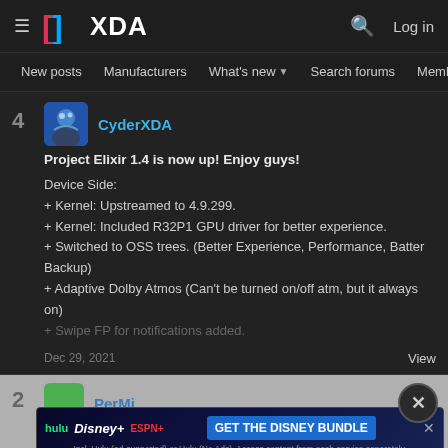XDA — New posts | Manufacturers | What's new | Search forums | Members
4 CyderXDA
Project Elixir 1.4 is now up! Enjoy guys!

Device Side:
+ Kernel: Upstreamed to 4.9.299.
+ Kernel: Included R32P1 GPU driver for better experience.
+ Switched to OSS trees. (Better Experience, Performance, Batter Backup)
+ Adaptive Dolby Atmos (Can't be turned on/off atm, but it always on)
+ Swipe FP for notifications added.
Dec 29, 2021    View
2  PerMi  Since...  mega sha...
Version 1.3
[Figure (screenshot): Disney Bundle advertisement banner showing Hulu, Disney+, ESPN+ logos with GET THE DISNEY BUNDLE CTA button]